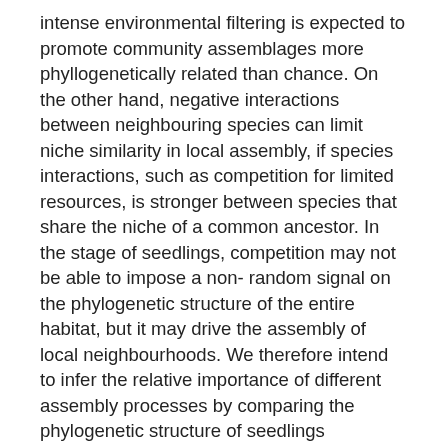intense environmental filtering is expected to promote community assemblages more phyllogenetically related than chance. On the other hand, negative interactions between neighbouring species can limit niche similarity in local assembly, if species interactions, such as competition for limited resources, is stronger between species that share the niche of a common ancestor. In the stage of seedlings, competition may not be able to impose a non- random signal on the phylogenetic structure of the entire habitat, but it may drive the assembly of local neighbourhoods. We therefore intend to infer the relative importance of different assembly processes by comparing the phylogenetic structure of seedlings communities in different Restinga forest physiognomies from the Parque Estadual da Ilha do Cardoso (Restinga Alta Alagada - RAA, Restinga Alta Drenada - RAD e Restinga Baixa – RB), at the scale of the entire habitat and the scale of local neighbourhoods. We describe phylogenetic structure of the entire habitat and local neighborhoods by